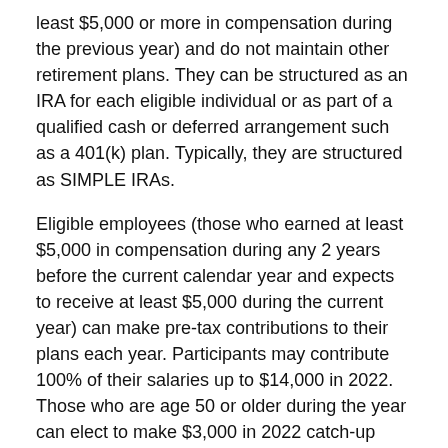least $5,000 or more in compensation during the previous year) and do not maintain other retirement plans. They can be structured as an IRA for each eligible individual or as part of a qualified cash or deferred arrangement such as a 401(k) plan. Typically, they are structured as SIMPLE IRAs.
Eligible employees (those who earned at least $5,000 in compensation during any 2 years before the current calendar year and expects to receive at least $5,000 during the current year) can make pre-tax contributions to their plans each year. Participants may contribute 100% of their salaries up to $14,000 in 2022. Those who are age 50 or older during the year can elect to make $3,000 in 2022 catch-up contributions. These amounts are indexed annually for inflation. SIMPLE 401(k) plans may also allow employees to make Roth contributions.
Administrators of SIMPLE IRAs are required to make either matching contributions equal to employee